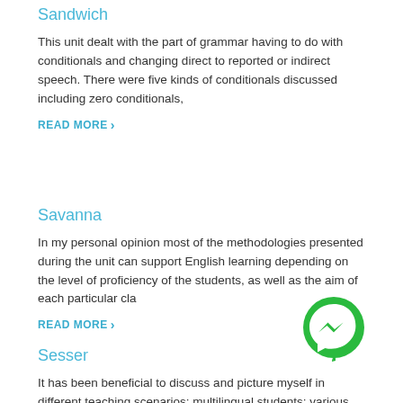Sandwich
This unit dealt with the part of grammar having to do with conditionals and changing direct to reported or indirect speech. There were five kinds of conditionals discussed including zero conditionals,
READ MORE ›
Savanna
In my personal opinion most of the methodologies presented during the unit can support English learning depending on the level of proficiency of the students, as well as the aim of each particular cla
READ MORE ›
[Figure (logo): Green circular Facebook Messenger icon with white lightning bolt/chat symbol]
Sesser
It has been beneficial to discuss and picture myself in different teaching scenarios: multilingual students; various beginners;